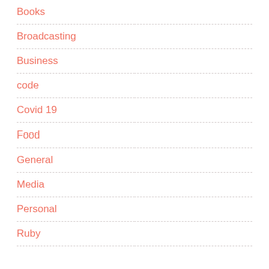Books
Broadcasting
Business
code
Covid 19
Food
General
Media
Personal
Ruby